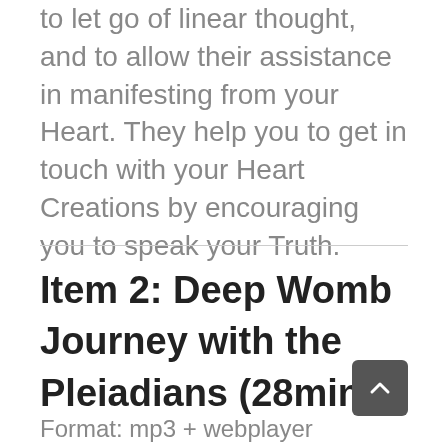to let go of linear thought, and to allow their assistance in manifesting from your Heart. They help you to get in touch with your Heart Creations by encouraging you to speak your Truth.
Item 2: Deep Womb Journey with the Pleiadians (28mins)
Format: mp3 + webplayer